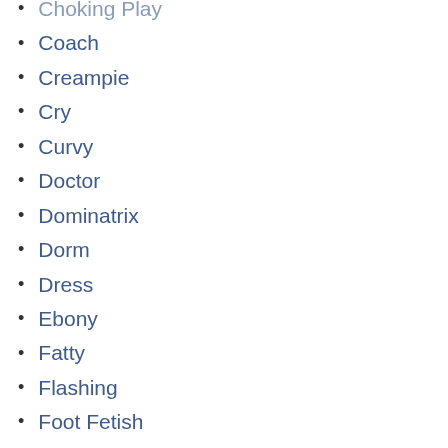Choking Play
Coach
Creampie
Cry
Curvy
Doctor
Dominatrix
Dorm
Dress
Ebony
Fatty
Flashing
Foot Fetish
Foreplay
Garter Belts
Gorgeous
Gym
Hairy Pussy
Homemade
Hungarian
Italian